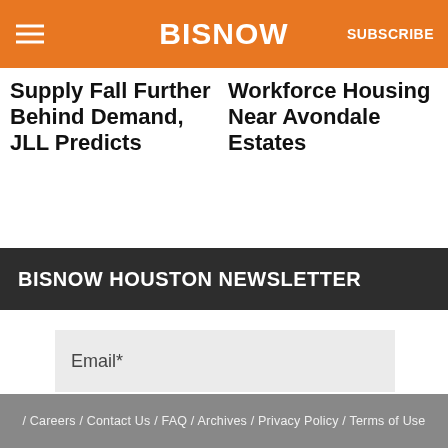BISNOW | SUBSCRIBE
Supply Fall Further Behind Demand, JLL Predicts
Workforce Housing Near Avondale Estates
BISNOW HOUSTON NEWSLETTER
Email*
SUBMIT
/ Careers / Contact Us / FAQ / Archives / Privacy Policy / Terms of Use